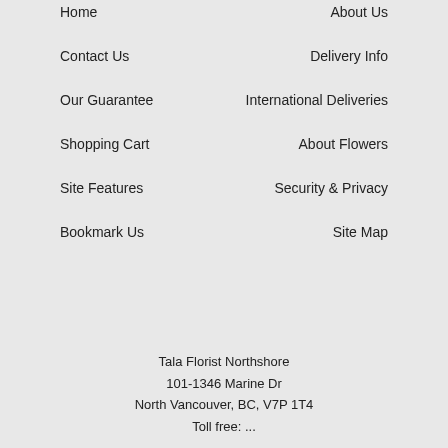Home
About Us
Contact Us
Delivery Info
Our Guarantee
International Deliveries
Shopping Cart
About Flowers
Site Features
Security & Privacy
Bookmark Us
Site Map
Tala Florist Northshore
101-1346 Marine Dr
North Vancouver, BC, V7P 1T4
Toll free: ...